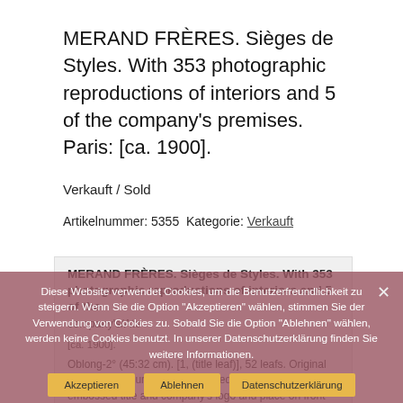MERAND FRÈRES. Sièges de Styles. With 353 photographic reproductions of interiors and 5 of the company's premises. Paris: [ca. 1900].
Verkauft / Sold
Artikelnummer: 5355  Kategorie: Verkauft
[Figure (screenshot): Gray content box showing repeated title 'MERAND FRÈRES. Sièges de Styles. With 353 photographic reproductions of interiors and 5 of the company's/Ate [ca. 1900].' and partial description text: 'Oblong-2° (45:32 cm). [1, (title leaf)], 52 leafs. Original bordeaux coloured thread-stitched cloth with gilt embossed title and company's logo and place on front']
Diese Website verwendet Cookies, um die Benutzerfreundlichkeit zu steigern. Wenn Sie die Option "Akzeptieren" wählen, stimmen Sie der Verwendung von Cookies zu. Sobald Sie die Option "Ablehnen" wählen, werden keine Cookies benutzt. In unserer Datenschutzerklärung finden Sie weitere Informationen.